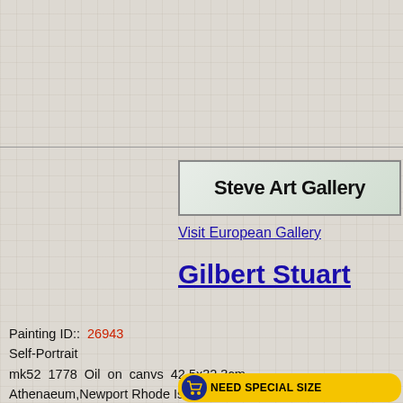[Figure (logo): Steve Art Gallery logo in a bordered box with light green-grey background]
Visit European Gallery
Gilbert Stuart
Painting ID::  26943
Self-Portrait
mk52  1778  Oil  on  canvs  42.5x32.3cm
Athenaeum,Newport Rhode Island
[Figure (infographic): Yellow pill-shaped button with shopping cart icon reading NEED SPECIAL SIZE]